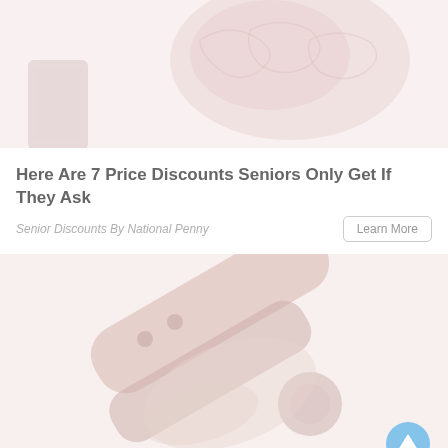[Figure (photo): Faded/washed-out photo of a brain model and a smartphone on a white surface, top card image]
Here Are 7 Price Discounts Seniors Only Get If They Ask
Senior Discounts By National Penny
[Figure (photo): Faded/washed-out photo of a hand holding a red/brown can opener, bottom card image, with a blue circular scroll-up button overlay]